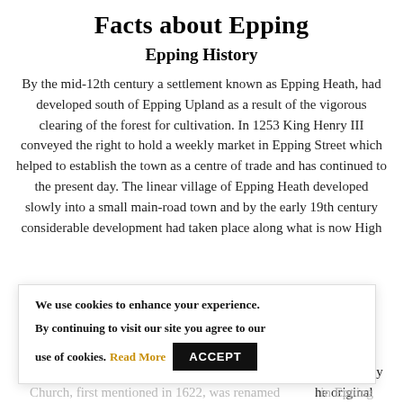Facts about Epping
Epping History
By the mid-12th century a settlement known as Epping Heath, had developed south of Epping Upland as a result of the vigorous clearing of the forest for cultivation. In 1253 King Henry III conveyed the right to hold a weekly market in Epping Street which helped to establish the town as a centre of trade and has continued to the present day. The linear village of Epping Heath developed slowly into a small main-road town and by the early 19th century considerable development had taken place along what is now High
We use cookies to enhance your experience. By continuing to visit our site you agree to our use of cookies. Read More ACCEPT
the 18th century, were substantially he original parish in Epping Upland,
Church, first mentioned in 1622, was renamed in Epping Upland,